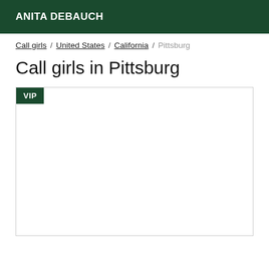ANITA DEBAUCH
Call girls / United States / California / Pittsburg
Call girls in Pittsburg
[Figure (other): Listing card with VIP badge in dark green, empty white content area below]